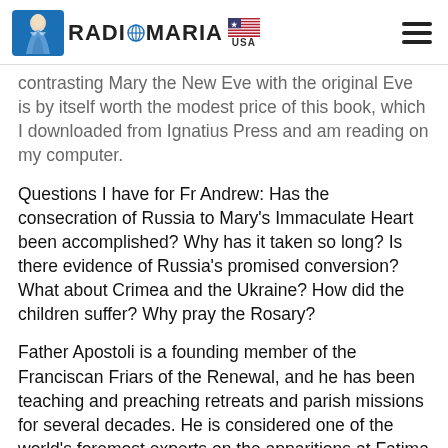RADIO MARIA USA
contrasting Mary the New Eve with the original Eve is by itself worth the modest price of this book, which I downloaded from Ignatius Press and am reading on my computer.
Questions I have for Fr Andrew: Has the consecration of Russia to Mary's Immaculate Heart been accomplished? Why has it taken so long? Is there evidence of Russia's promised conversion? What about Crimea and the Ukraine? How did the children suffer? Why pray the Rosary?
Father Apostoli is a founding member of the Franciscan Friars of the Renewal, and he has been teaching and preaching retreats and parish missions for several decades. He is considered one of the world's foremost experts on the apparitions at Fatima and he has authored numerous books, including Following Mary to Jesus and Walk Humbly With...